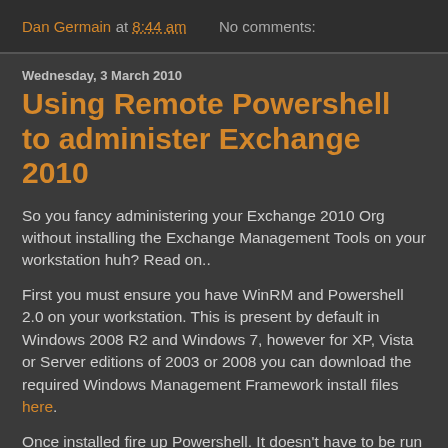Dan Germain at 8:44 am   No comments:
Wednesday, 3 March 2010
Using Remote Powershell to administer Exchange 2010
So you fancy administering your Exchange 2010 Org without installing the Exchange Management Tools on your workstation huh? Read on..
First you must ensure you have WinRM and Powershell 2.0 on your workstation. This is present by default in Windows 2008 R2 and Windows 7, however for XP, Vista or Server editions of 2003 or 2008 you can download the required Windows Management Framework install files here.
Once installed fire up Powershell. It doesn't have to be run in Administrator mode for this to work. To make things easy lets cache our credentials